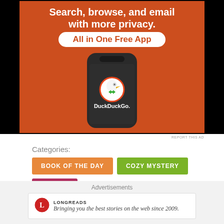[Figure (photo): DuckDuckGo advertisement banner showing a smartphone with DuckDuckGo logo on an orange background. Text reads 'Search, browse, and email with more privacy. All in One Free App'. DuckDuckGo duck logo visible on phone screen.]
REPORT THIS AD
Categories:
BOOK OF THE DAY
COZY MYSTERY
FICTION
GIVEAWAYS
MYSTERY
Tags: #Giveaway
Advertisements
[Figure (logo): Longreads logo — red circle with L, text says LONGREADS]
Bringing you the best stories on the web since 2009.